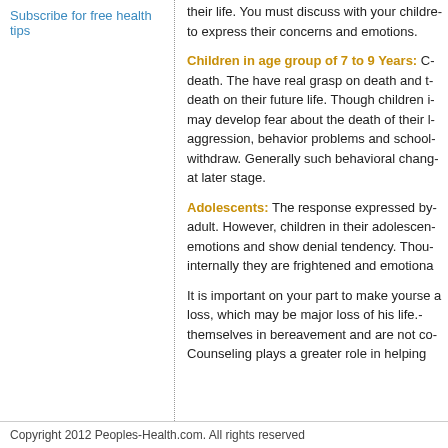Subscribe for free health tips
their life. You must discuss with your children to express their concerns and emotions.
Children in age group of 7 to 9 Years: Children understand death. The have real grasp on death and the impact of death on their future life. Though children in this age may develop fear about the death of their loved ones, aggression, behavior problems and school dropout or withdraw. Generally such behavioral changes are noticed at later stage.
Adolescents: The response expressed by adolescent is like adult. However, children in their adolescence may hide their emotions and show denial tendency. Though internally they are frightened and emotionally weak.
It is important on your part to make yourself available for a loss, which may be major loss of his life. They involve themselves in bereavement and are not co-operative. Counseling plays a greater role in helping
Copyright 2012 Peoples-Health.com. All rights reserved